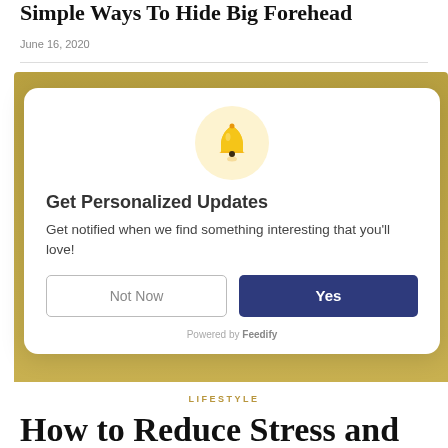Simple Ways To Hide Big Forehead
June 16, 2020
[Figure (screenshot): A browser notification popup modal with a bell icon, heading 'Get Personalized Updates', body text, 'Not Now' and 'Yes' buttons, and 'Powered by Feedify' at the bottom.]
LIFESTYLE
How to Reduce Stress and